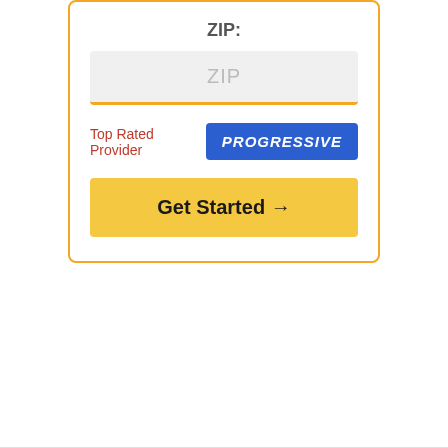ZIP:
ZIP
Top Rated Provider
[Figure (logo): Progressive insurance logo — white italic bold text on blue background]
Get Started →